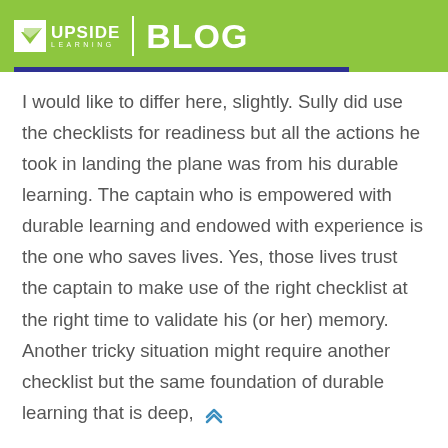UPSIDE LEARNING | BLOG
I would like to differ here, slightly. Sully did use the checklists for readiness but all the actions he took in landing the plane was from his durable learning. The captain who is empowered with durable learning and endowed with experience is the one who saves lives. Yes, those lives trust the captain to make use of the right checklist at the right time to validate his (or her) memory. Another tricky situation might require another checklist but the same foundation of durable learning that is deep,